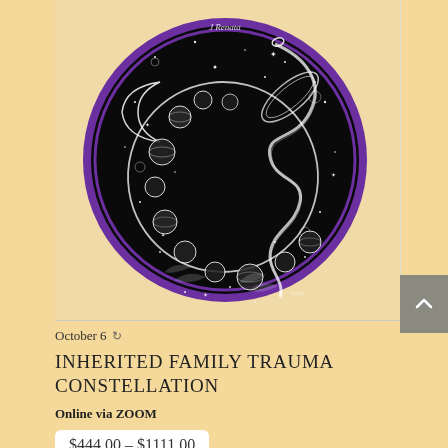[Figure (illustration): A circular mystical illustration on a beige card background. The circle has a thick purple border ring on a black starry night sky background. Inside: a crescent moon on the left, a serpent/snake coiling through an orbital ring, decorative botanical elements, and multiple spherical planets or moon phases arranged in a spiral pattern. White line art style on black. Small text at top reads 'J Renata' and artist signature at bottom right.]
October 6 ↻
INHERITED FAMILY TRAUMA CONSTELLATION
Online via ZOOM
$444.00 – $1111.00